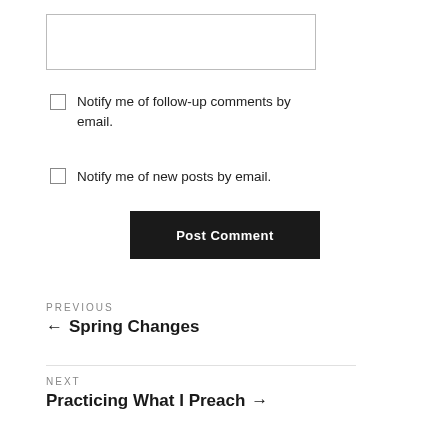[Figure (other): Text input box (comment field)]
Notify me of follow-up comments by email.
Notify me of new posts by email.
Post Comment
PREVIOUS
← Spring Changes
NEXT
Practicing What I Preach →